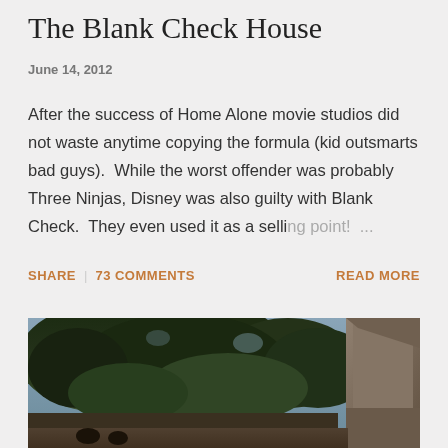The Blank Check House
June 14, 2012
After the success of Home Alone movie studios did not waste anytime copying the formula (kid outsmarts bad guys).  While the worst offender was probably Three Ninjas, Disney was also guilty with Blank Check.  They even used it as a selling point! ...
SHARE
73 COMMENTS
READ MORE
[Figure (photo): Outdoor photo showing dense trees and foliage with a building visible on the right side, appears to be a residential or estate property.]